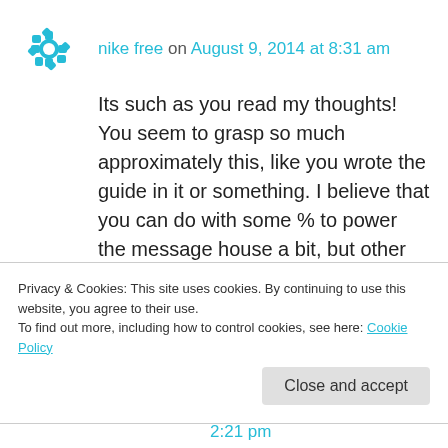nike free on August 9, 2014 at 8:31 am
Its such as you read my thoughts! You seem to grasp so much approximately this, like you wrote the guide in it or something. I believe that you can do with some % to power the message house a bit, but other than that, this is fantastic blog.

A great read. I will definitely be back.
Like
Privacy & Cookies: This site uses cookies. By continuing to use this website, you agree to their use.
To find out more, including how to control cookies, see here: Cookie Policy
Close and accept
2:21 pm